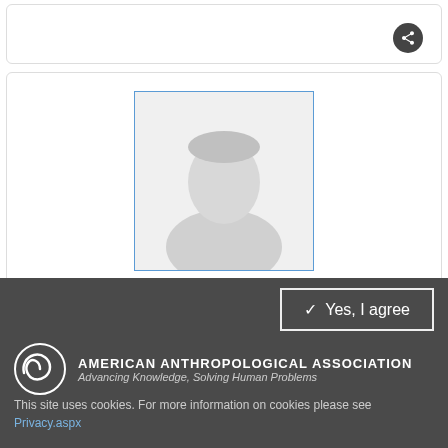[Figure (photo): Placeholder profile photo of Courtney Byers — generic silhouette of a person on light grey background, inside a blue-bordered rectangle]
Courtney Byers
JOB TITLE: ADMINISTRATIVE ASSISTANT
[Figure (logo): American Anthropological Association spiral logo in white]
AMERICAN ANTHROPOLOGICAL ASSOCIATION
Advancing Knowledge, Solving Human Problems
Yes, I agree
This site uses cookies. For more information on cookies please see Privacy.aspx